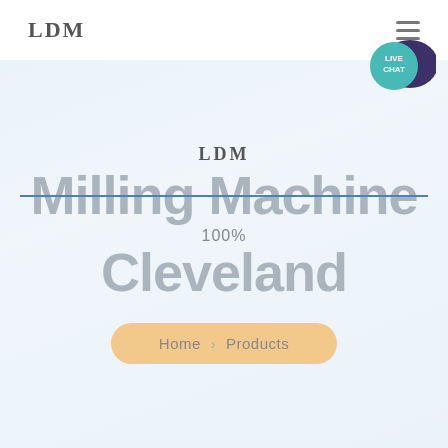LDM
[Figure (logo): Live Chat badge with teal circle and dark speech bubble]
LDM Milling Machine Cleveland
100%
Home > Products